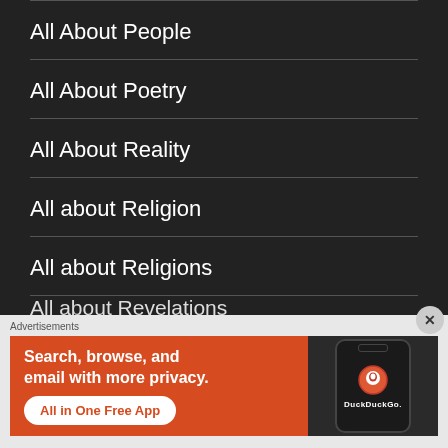All About People
All About Poetry
All About Reality
All about Religion
All about Religions
All about Revelations
Advertisements
[Figure (screenshot): DuckDuckGo advertisement banner showing 'Search, browse, and email with more privacy. All in One Free App' with DuckDuckGo logo on a phone]